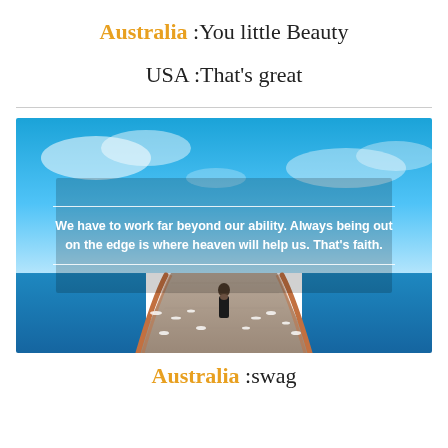Australia :You little Beauty
USA :That's great
[Figure (photo): A woman in a black dress walking along a pier/jetty toward the sea, with seagulls around her and blue sky with clouds. Overlaid with a quote: 'We have to work far beyond our ability. Always being out on the edge is where heaven will help us. That's faith.']
Australia :swag